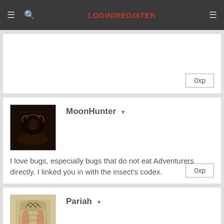LOGIN/REGISTER
0xp
MoonHunter
I love bugs, especially bugs that do not eat Adventurers directly. I linked you in with the insect's codex.
0xp
Pariah
Supa' Sexy, oh and good job.
0xp